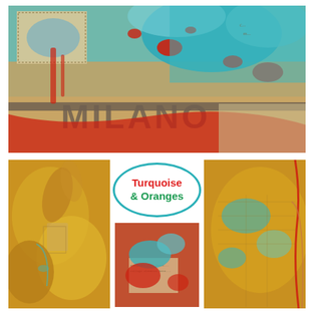[Figure (illustration): Mixed media collage artwork showing turquoise, red, and golden-tan textures with 'MILANO' text visible, layered papers, paint splatters in red and teal]
[Figure (illustration): Bottom-left panel: golden yellow/orange textured collage artwork with teal accents and layered paper elements]
Turquoise & Oranges
[Figure (illustration): Bottom-center small panel: red and teal paint splatters over newspaper/paper collage]
[Figure (illustration): Bottom-right panel: mixed orange, teal, and golden textured collage with red cord/string detail]